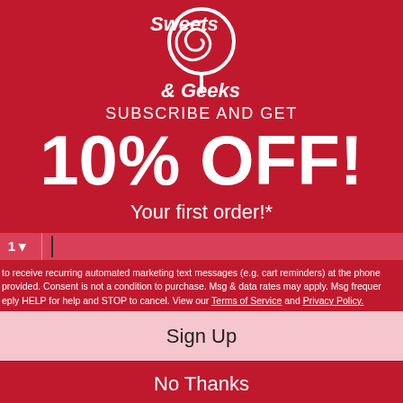[Figure (logo): Sweets & Geeks logo — white lollipop icon with swirled candy top and stylized text '& Geeks' in white on red background]
SUBSCRIBE AND GET
10% OFF!
Your first order!*
to receive recurring automated marketing text messages (e.g. cart reminders) at the phone provided. Consent is not a condition to purchase. Msg & data rates may apply. Msg frequency vary. Reply HELP for help and STOP to cancel. View our Terms of Service and Privacy Policy.
Sign Up
No Thanks